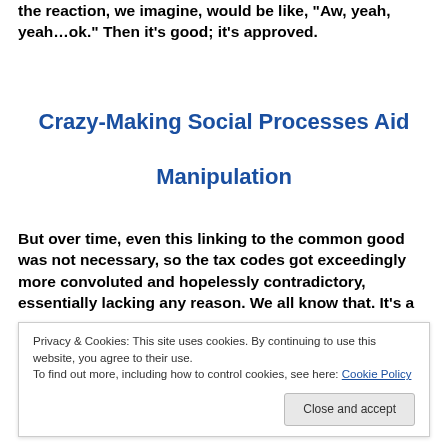the reaction, we imagine, would be like, "Aw, yeah, yeah…ok." Then it's good; it's approved.
Crazy-Making Social Processes Aid Manipulation
But over time, even this linking to the common good was not necessary, so the tax codes got exceedingly more convoluted and hopelessly contradictory, essentially lacking any reason. We all know that. It's a
be impossible to excise them all.
Privacy & Cookies: This site uses cookies. By continuing to use this website, you agree to their use.
To find out more, including how to control cookies, see here: Cookie Policy